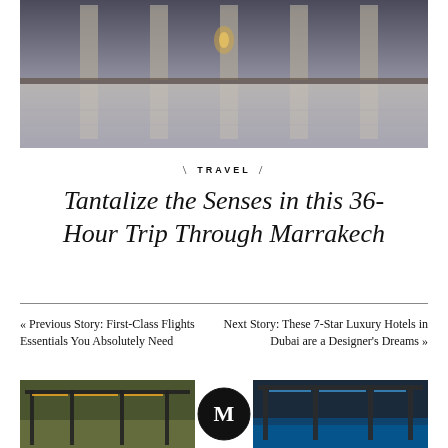[Figure (photo): Interior of a Moroccan riad or palace with ornate silver lanterns and reflective surfaces, warm ambient lighting, Marrakech architectural style]
TRAVEL
Tantalize the Senses in this 36-Hour Trip Through Marrakech
« Previous Story: First-Class Flights Essentials You Absolutely Need
Next Story: These 7-Star Luxury Hotels in Dubai are a Designer's Dreams »
[Figure (photo): Left thumbnail: outdoor modern structure with warm lighting]
[Figure (logo): Center M logo mark in circle]
[Figure (photo): Right thumbnail: modern outdoor pergola with pool and blue lighting]